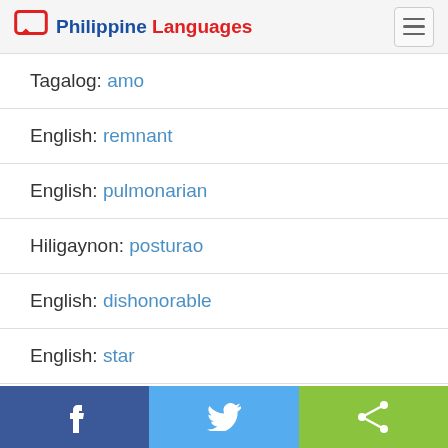Philippine Languages
Tagalog: amo
English: remnant
English: pulmonarian
Hiligaynon: posturao
English: dishonorable
English: star
Share buttons: Facebook, Twitter, Share